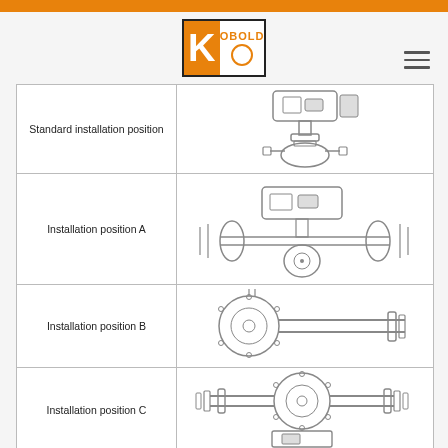[Figure (logo): KOBOLD company logo with orange K and circle]
| Position Name | Diagram |
| --- | --- |
| Standard installation position | [engineering diagram of standard installation] |
| Installation position A | [engineering diagram of position A] |
| Installation position B | [engineering diagram of position B] |
| Installation position C | [engineering diagram of position C] |